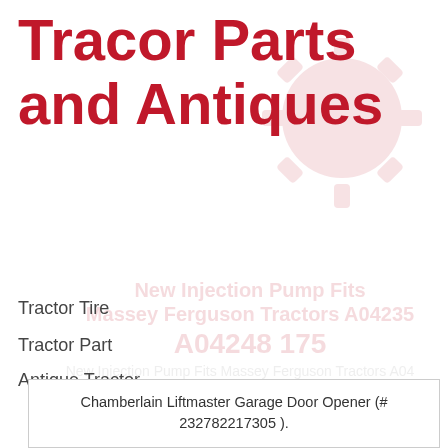Tracor Parts and Antiques
Tractor Tire
Tractor Part
Antique Tractor
Massey Ferguson Tractor
John Deere Tractor
Farm Tractor
Chamberlain Liftmaster Garage Door Opener (# 232782217305 ).